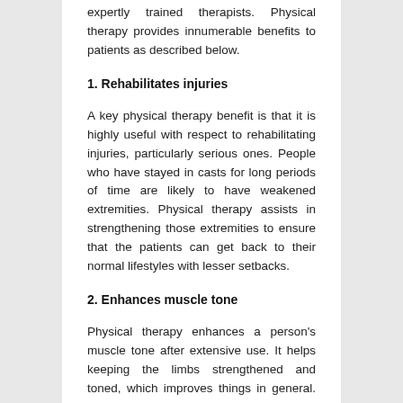expertly trained therapists. Physical therapy provides innumerable benefits to patients as described below.
1. Rehabilitates injuries
A key physical therapy benefit is that it is highly useful with respect to rehabilitating injuries, particularly serious ones. People who have stayed in casts for long periods of time are likely to have weakened extremities. Physical therapy assists in strengthening those extremities to ensure that the patients can get back to their normal lifestyles with lesser setbacks.
2. Enhances muscle tone
Physical therapy enhances a person's muscle tone after extensive use. It helps keeping the limbs strengthened and toned, which improves things in general. The therapy is